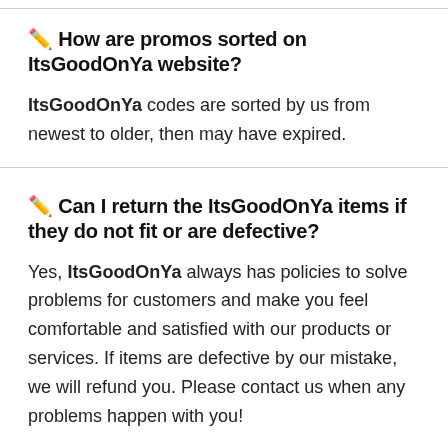✏️ How are promos sorted on ItsGoodOnYa website?
ItsGoodOnYa codes are sorted by us from newest to older, then may have expired.
✏️ Can I return the ItsGoodOnYa items if they do not fit or are defective?
Yes, ItsGoodOnYa always has policies to solve problems for customers and make you feel comfortable and satisfied with our products or services. If items are defective by our mistake, we will refund you. Please contact us when any problems happen with you!